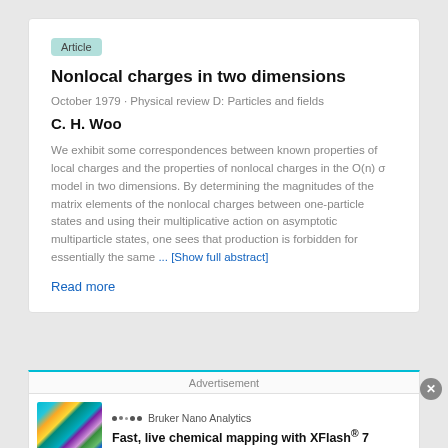Article
Nonlocal charges in two dimensions
October 1979 · Physical review D: Particles and fields
C. H. Woo
We exhibit some correspondences between known properties of local charges and the properties of nonlocal charges in the O(n) σ model in two dimensions. By determining the magnitudes of the matrix elements of the nonlocal charges between one-particle states and using their multiplicative action on asymptotic multiparticle states, one sees that production is forbidden for essentially the same ... [Show full abstract]
Read more
Advertisement
[Figure (photo): SEM/EDS colorized microscopy image showing nanoparticles in teal, yellow, green, and purple colors]
Bruker Nano Analytics
Fast, live chemical mapping with XFlash® 7